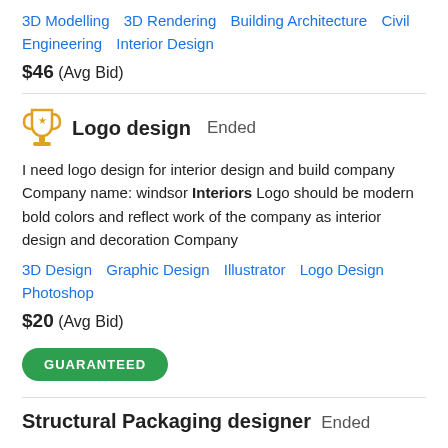3D Modelling   3D Rendering   Building Architecture   Civil Engineering   Interior Design
$46  (Avg Bid)
Logo design  Ended
I need logo design for interior design and build company Company name: windsor Interiors Logo should be modern bold colors and reflect work of the company as interior design and decoration Company
3D Design   Graphic Design   Illustrator   Logo Design   Photoshop
$20  (Avg Bid)
GUARANTEED
Structural Packaging designer  Ended